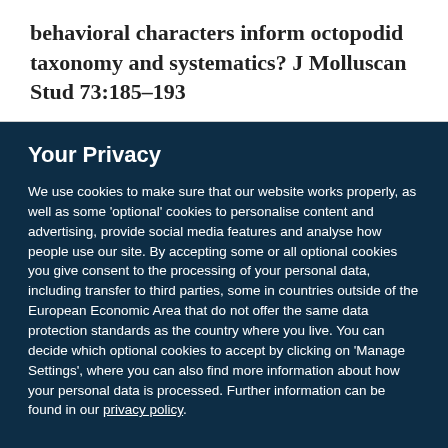behavioral characters inform octopodid taxonomy and systematics? J Molluscan Stud 73:185–193
Your Privacy
We use cookies to make sure that our website works properly, as well as some 'optional' cookies to personalise content and advertising, provide social media features and analyse how people use our site. By accepting some or all optional cookies you give consent to the processing of your personal data, including transfer to third parties, some in countries outside of the European Economic Area that do not offer the same data protection standards as the country where you live. You can decide which optional cookies to accept by clicking on 'Manage Settings', where you can also find more information about how your personal data is processed. Further information can be found in our privacy policy.
Accept all cookies
Manage preferences